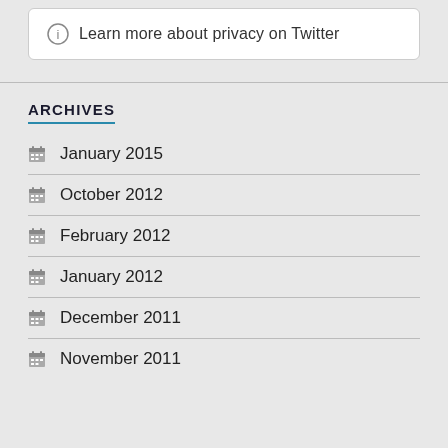Learn more about privacy on Twitter
ARCHIVES
January 2015
October 2012
February 2012
January 2012
December 2011
November 2011